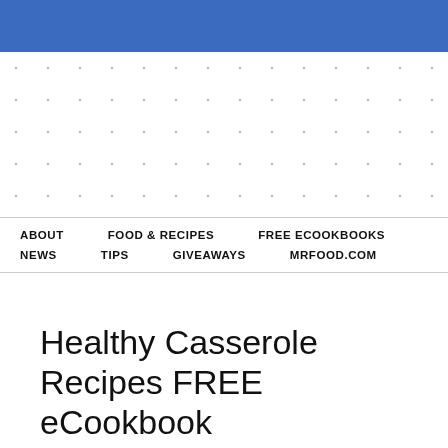[Figure (other): Blue banner header with dot-pattern background area below]
ABOUT   FOOD & RECIPES   FREE ECOOKBOOKS   NEWS   TIPS   GIVEAWAYS   MRFOOD.COM
Healthy Casserole Recipes FREE eCookbook
FEBRUARY 25, 2015 BY MERLY · LEAVE A COMMENT
If you've ever been to a potluck or get-together, then,